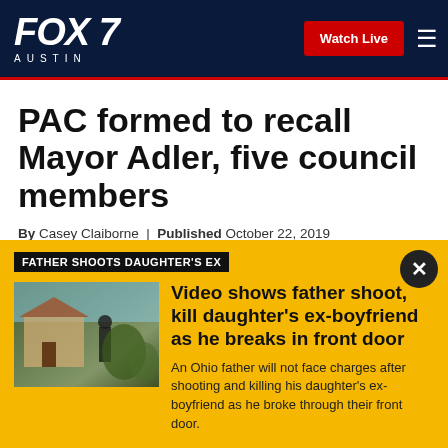FOX 7 AUSTIN — Watch Live
PAC formed to recall Mayor Adler, five council members
By Casey Claiborne | Published October 22, 2019 | Austin City Council | FOX 7 Austin
[Figure (other): Social sharing icons: Facebook, Twitter, Print, Email]
FATHER SHOOTS DAUGHTER'S EX
[Figure (photo): Thumbnail photo of a house exterior with a person visible near a doorway area, outdoors scene]
Video shows father shoot, kill daughter's ex-boyfriend as he breaks in front door
An Ohio father will not face charges after shooting and killing his daughter's ex-boyfriend as he broke through their front door.